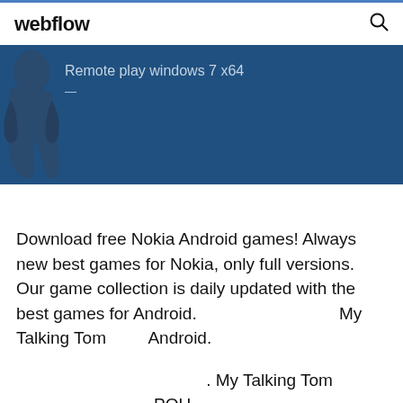webflow
[Figure (screenshot): Dark blue banner with a partially visible blue figure/silhouette on the left and text 'Remote play windows 7 x64' with a dash below it]
Download free Nokia Android games! Always new best games for Nokia, only full versions. Our game collection is daily updated with the best games for Android.                                      My Talking Tom         Android.

                                                    . My Talking Tom                                        POU.